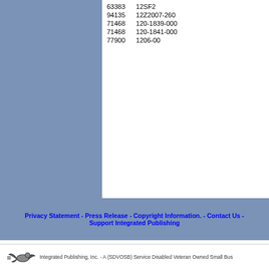| Code | Part Number |
| --- | --- |
| 63383 | 12SF2 |
| 94135 | 12Z2007-260 |
| 71468 | 120-1839-000 |
| 71468 | 120-1841-000 |
| 77900 | 1206-00 |
Privacy Statement - Press Release - Copyright Information. - Contact Us - Support Integrated Publishing
Integrated Publishing, Inc. - A (SDVOSB) Service Disabled Veteran Owned Small Bus...